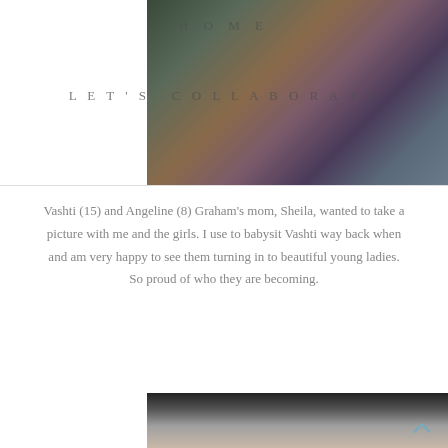[Figure (photo): Two girls in colorful dance/costume outfits — one in a green and purple outfit, one in a blue and gold belly dance costume]
HOME
LET'S COLLABORATE
Vashti (15) and Angeline (8) Graham's mom, Sheila, wanted to take a picture with me and the girls.  I use to babysit Vashti way back when and am very happy to see them turning in to beautiful young ladies.  So proud of who they are becoming.
[Figure (photo): Close-up of a young girl with a pink headband, face decorated with small rhinestones or gems, wearing green costume]